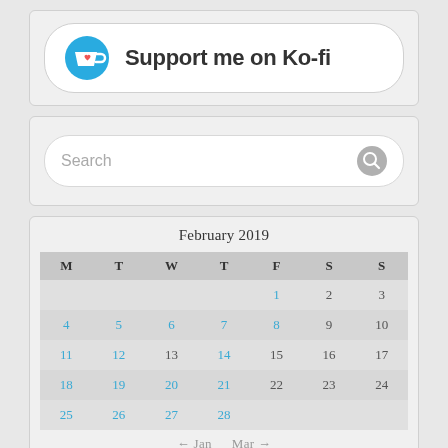[Figure (infographic): Ko-fi support button widget with Ko-fi logo (blue circle with white coffee cup and red heart) and text 'Support me on Ko-fi']
[Figure (infographic): Search bar widget with placeholder text 'Search' and a grey search icon button on the right]
February 2019
| M | T | W | T | F | S | S |
| --- | --- | --- | --- | --- | --- | --- |
|  |  |  |  | 1 | 2 | 3 |
| 4 | 5 | 6 | 7 | 8 | 9 | 10 |
| 11 | 12 | 13 | 14 | 15 | 16 | 17 |
| 18 | 19 | 20 | 21 | 22 | 23 | 24 |
| 25 | 26 | 27 | 28 |  |  |  |
← Jan   Mar →